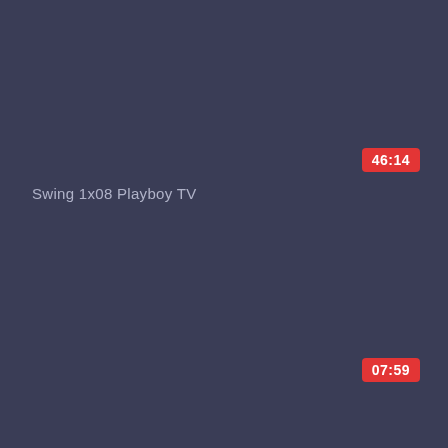[Figure (screenshot): Top video thumbnail panel with dark blue-grey background, no visible image content]
46:14
Swing 1x08 Playboy TV
[Figure (screenshot): Bottom video thumbnail panel with dark blue-grey background, no visible image content]
07:59